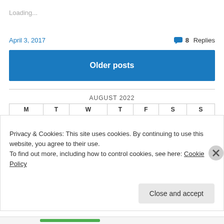Loading...
April 3, 2017
8 Replies
Older posts
AUGUST 2022
| M | T | W | T | F | S | S |
| --- | --- | --- | --- | --- | --- | --- |
Privacy & Cookies: This site uses cookies. By continuing to use this website, you agree to their use.
To find out more, including how to control cookies, see here: Cookie Policy
Close and accept